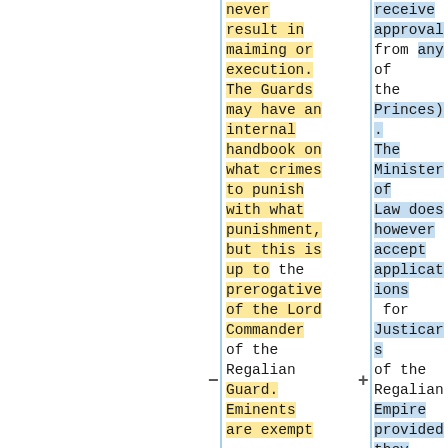never result in maiming or execution. The Guards may have an internal handbook on what crimes to punish with what punishment, but this is up to the prerogative of the Lord Commander of the Regalian Guard. Eminents are exempt
receive approval from any of the Princes). The Minister of Law does however accept applications for Justicars of the Regalian Empire provided they have the State Dignitary Pack. The Ministry of